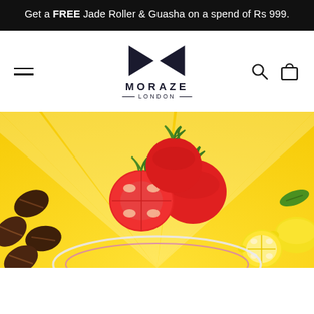Get a FREE Jade Roller & Guasha on a spend of Rs 999.
[Figure (logo): Moraze London logo with bowtie/arrow icon above the brand name MORAZE LONDON]
[Figure (photo): Hero banner with yellow sunburst background featuring tomatoes (whole and halved), coffee beans, and lemons arranged around a product bowl/jar. Moraze London skincare/beauty product promotional image.]